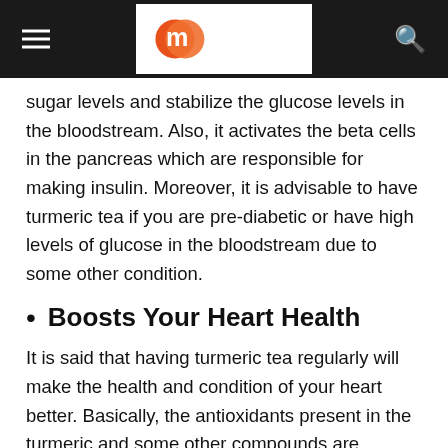[Figure (logo): Mippin logo with orange double-circle icon and 'mippin' text on dark header bar]
sugar levels and stabilize the glucose levels in the bloodstream. Also, it activates the beta cells in the pancreas which are responsible for making insulin. Moreover, it is advisable to have turmeric tea if you are pre-diabetic or have high levels of glucose in the bloodstream due to some other condition.
Boosts Your Heart Health
It is said that having turmeric tea regularly will make the health and condition of your heart better. Basically, the antioxidants present in the turmeric and some other compounds are responsible for